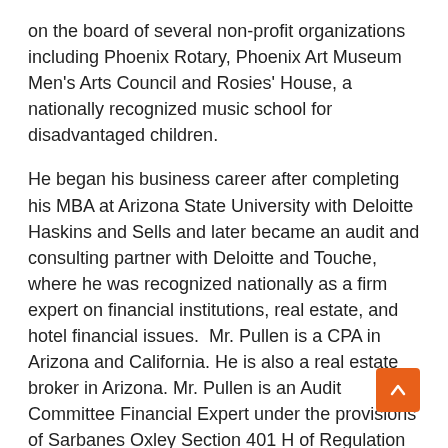on the board of several non-profit organizations including Phoenix Rotary, Phoenix Art Museum Men's Arts Council and Rosies' House, a nationally recognized music school for disadvantaged children.
He began his business career after completing his MBA at Arizona State University with Deloitte Haskins and Sells and later became an audit and consulting partner with Deloitte and Touche, where he was recognized nationally as a firm expert on financial institutions, real estate, and hotel financial issues.  Mr. Pullen is a CPA in Arizona and California. He is also a real estate broker in Arizona. Mr. Pullen is an Audit Committee Financial Expert under the provisions of Sarbanes Oxley Section 401 H of Regulation S-K.